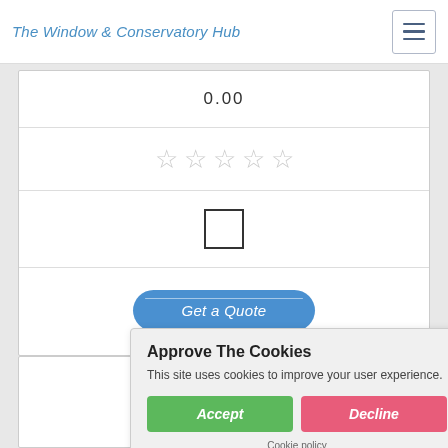The Window & Conservatory Hub
0.00
[Figure (other): Five empty star rating icons]
[Figure (other): Empty checkbox input]
Get a Quote
Fortress
72 Wallhill Road, Dobcross, Lancashire
Approve The Cookies
This site uses cookies to improve your user experience.
Accept
Decline
Cookie policy